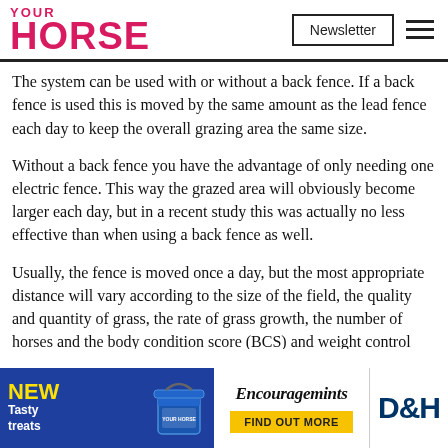YOUR HORSE | Newsletter
The system can be used with or without a back fence. If a back fence is used this is moved by the same amount as the lead fence each day to keep the overall grazing area the same size.
Without a back fence you have the advantage of only needing one electric fence. This way the grazed area will obviously become larger each day, but in a recent study this was actually no less effective than when using a back fence as well.
Usually, the fence is moved once a day, but the most appropriate distance will vary according to the size of the field, the quality and quantity of grass, the rate of grass growth, the number of horses and the body condition score (BCS) and weight control programme of the occupants.
[Figure (photo): Advertisement banner for NEW Tasty treats Encouragemints by D&H with blue bucket image and Find Out More button]